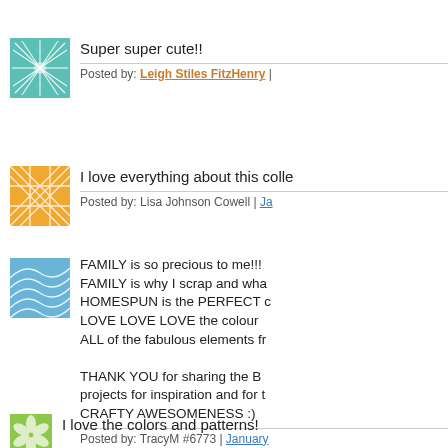[Figure (illustration): Teal/green abstract starburst pattern avatar image]
Super super cute!!
Posted by: Leigh Stiles FitzHenry |
[Figure (illustration): Orange/yellow geometric cross-hatch pattern avatar image]
I love everything about this colle
Posted by: Lisa Johnson Cowell | Jan
[Figure (illustration): Blue wave pattern avatar image]
FAMILY is so precious to me!!! FAMILY is why I scrap and wha HOMESPUN is the PERFECT c LOVE LOVE LOVE the colour ALL of the fabulous elements fr

THANK YOU for sharing the B projects for inspiration and for t CRAFTY AWESOMENESS :)
Posted by: TracyM #6773 | January
[Figure (illustration): Green leaf/flower pattern avatar image]
I love the colors and patterns!